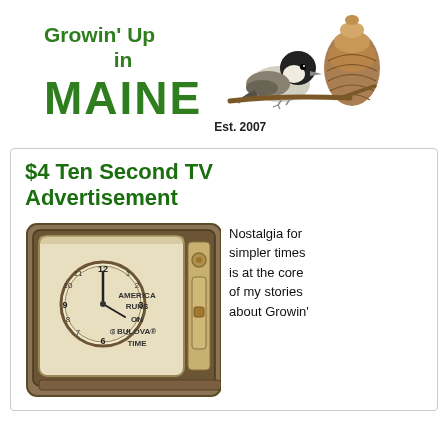Growin' Up in MAINE Est. 2007
[Figure (illustration): A chickadee bird perched on a branch and a pine cone, serving as logo imagery for 'Growin' Up in Maine']
$4 Ten Second TV Advertisement
[Figure (photo): Sepia-toned vintage television set displaying a Bulova clock face with text 'AMERICA RUNS ON BULOVA TIME']
Nostalgia for simpler times is at the core of my stories about Growin'